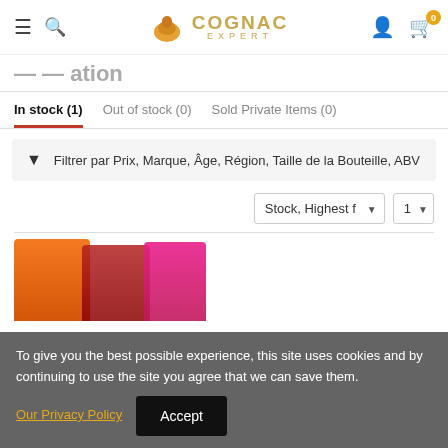Cognac Expert — Navigation bar with hamburger menu, search, logo, user account, and cart (0 items)
Location (partial, clipped)
In stock (1)   Out of stock (0)   Sold Private Items (0)
Filtrer par Prix, Marque, Âge, Région, Taille de la Bouteille, ABV
Stock, Highest f…  1
[Figure (photo): Partial product images at bottom showing orange, red, and pink cognac bottles]
To give you the best possible experience, this site uses cookies and by continuing to use the site you agree that we can save them. Our Privacy Policy  Accept